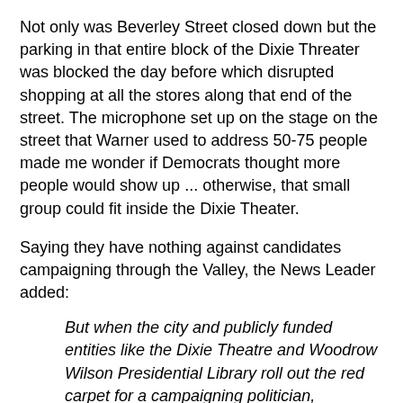Not only was Beverley Street closed down but the parking in that entire block of the Dixie Threater was blocked the day before which disrupted shopping at all the stores along that end of the street. The microphone set up on the stage on the street that Warner used to address 50-75 people made me wonder if Democrats thought more people would show up ... otherwise, that small group could fit inside the Dixie Theater.
Saying they have nothing against candidates campaigning through the Valley, the News Leader added:
But when the city and publicly funded entities like the Dixie Theatre and Woodrow Wilson Presidential Library roll out the red carpet for a campaigning politician, something is wrong.
...
The Staunton Performing Arts Center put in the request to have Beverley Street closed, and it was done. Then he was whisked away for a ride in President Wilson's Pierce-Arrow for a trip to the presidential library. The pomp and circumstance would be useful for re-election...